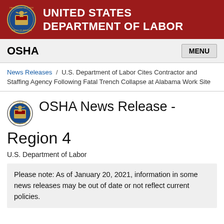UNITED STATES DEPARTMENT OF LABOR
OSHA
News Releases / U.S. Department of Labor Cites Contractor and Staffing Agency Following Fatal Trench Collapse at Alabama Work Site
OSHA News Release - Region 4
U.S. Department of Labor
Please note: As of January 20, 2021, information in some news releases may be out of date or not reflect current policies.